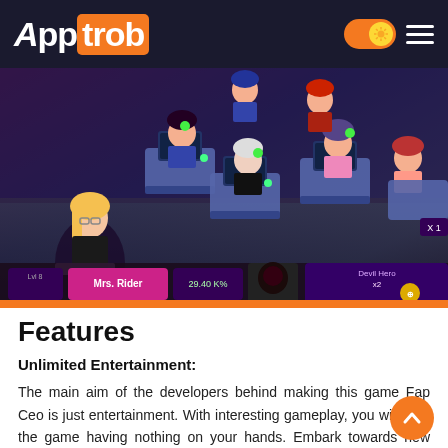AppTrob
[Figure (screenshot): Game screenshot showing anime-style female characters sitting at desks in a classroom/office setting. UI elements visible including 'Mrs. Rider' name tag, 'Devil Heros' item, and various game HUD elements. Orange bar at bottom.]
Features
Unlimited Entertainment:
The main aim of the developers behind making this game Fap Ceo is just entertainment. With interesting gameplay, you will start the game having nothing on your hands. Embark towards new beginnings by assembling a team to work for you and assign their tasks to them – the only criteria of selection is